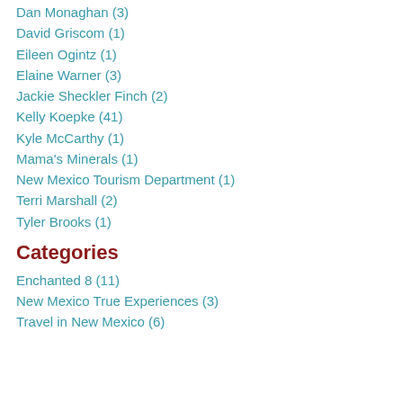Dan Monaghan (3)
David Griscom (1)
Eileen Ogintz (1)
Elaine Warner (3)
Jackie Sheckler Finch (2)
Kelly Koepke (41)
Kyle McCarthy (1)
Mama's Minerals (1)
New Mexico Tourism Department (1)
Terri Marshall (2)
Tyler Brooks (1)
Categories
Enchanted 8 (11)
New Mexico True Experiences (3)
Travel in New Mexico (6)